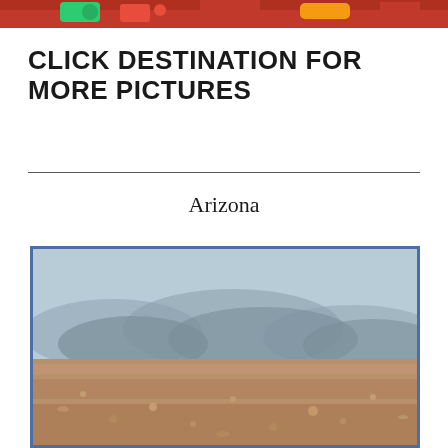[Figure (photo): Partial top edge of a photo showing red/colorful content, cropped at top of page]
CLICK DESTINATION FOR MORE PICTURES
Arizona
[Figure (photo): Desert landscape in Arizona showing sandy reddish terrain in foreground and hazy mountains in background under a pale sky, framed with a blue border]